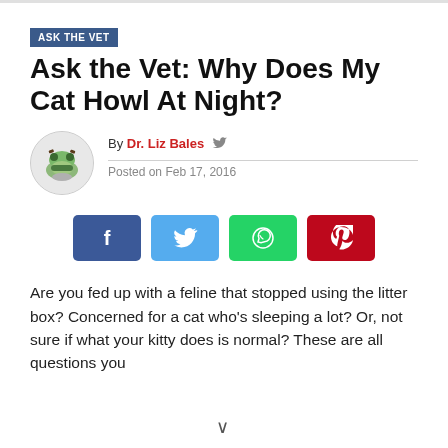ASK THE VET
Ask the Vet: Why Does My Cat Howl At Night?
By Dr. Liz Bales  Posted on Feb 17, 2016
[Figure (infographic): Social share buttons: Facebook (blue), Twitter (light blue), WhatsApp (green), Pinterest (red)]
Are you fed up with a feline that stopped using the litter box? Concerned for a cat who's sleeping a lot? Or, not sure if what your kitty does is normal? These are all questions you